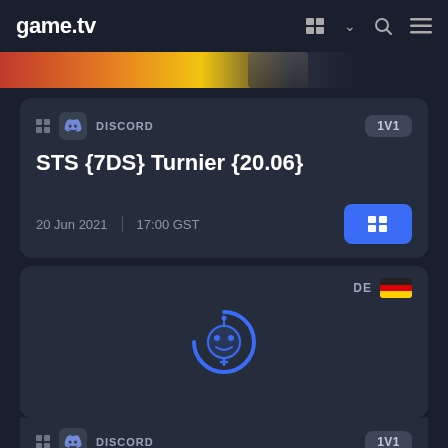game.tv
[Figure (screenshot): Banner strip with orange and yellow gradient colors at top of game card]
DISCORD  1V1  STS {7DS} Turnier {20.06}  20 Jun 2021  17:00 GST
[Figure (logo): game.tv robot/bot logo in blue circle, loading spinner style]
DE  DISCORD  1V1